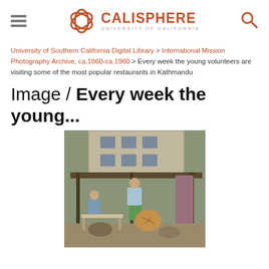CALISPHERE — UNIVERSITY OF CALIFORNIA
University of Southern California Digital Library > International Mission Photography Archive, ca.1860-ca.1960 > Every week the young volunteers are visiting some of the most popular restaurants in Kathmandu
Image / Every week the young...
[Figure (photo): Photograph showing young volunteers at a popular restaurant in Kathmandu. A person in a light blue top and green shorts stands under a covered outdoor patio area. Other people are seated nearby. A multi-story stone building is visible in the background.]